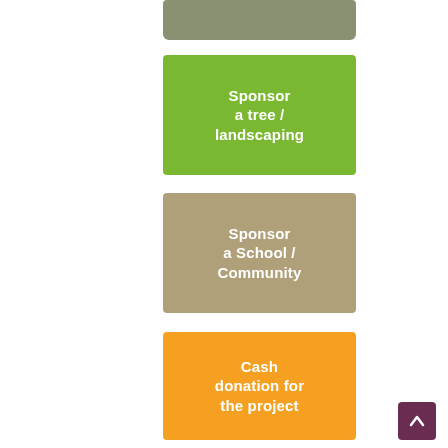[Figure (infographic): Partial green-gray colored box visible at top of page, cut off]
[Figure (infographic): Green rounded rectangle button with white bold text reading 'Sponsor a tree / landscaping']
[Figure (infographic): Tan/khaki rounded rectangle button with white bold text reading 'Sponsor a School / Community']
[Figure (infographic): Orange rounded rectangle button with white bold text reading 'Cash donation for the project']
[Figure (infographic): Dark purple/maroon scroll-to-top arrow button in bottom right corner]